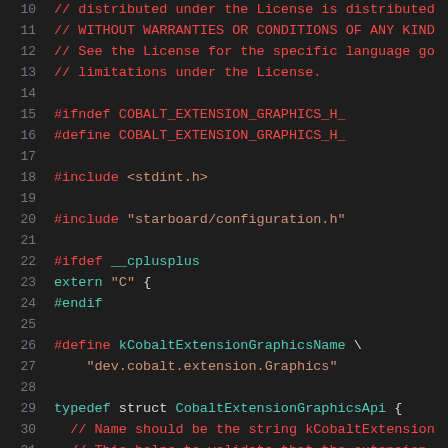10  // distributed under the License is distributed...
11  // WITHOUT WARRANTIES OR CONDITIONS OF ANY KIND...
12  // See the License for the specific language go...
13  // limitations under the License.
14  (blank)
15  #ifndef COBALT_EXTENSION_GRAPHICS_H_
16  #define COBALT_EXTENSION_GRAPHICS_H_
17  (blank)
18  #include <stdint.h>
19  (blank)
20  #include "starboard/configuration.h"
21  (blank)
22  #ifdef __cplusplus
23  extern "C" {
24  #endif
25  (blank)
26  #define kCobaltExtensionGraphicsName \
27      "dev.cobalt.extension.Graphics"
28  (blank)
29  typedef struct CobaltExtensionGraphicsApi {
30    // Name should be the string kCobaltExtension...
31    // This helps to validate that the extension...